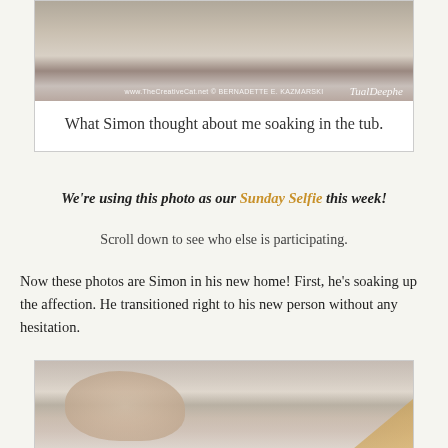[Figure (photo): Photo of a cat (Simon) peering at the camera, with watermark text 'www.TheCreativeCat.net © BERNADETTE E. KAZMARSKI' and a handwritten signature]
What Simon thought about me soaking in the tub.
We're using this photo as our Sunday Selfie this week!
Scroll down to see who else is participating.
Now these photos are Simon in his new home! First, he's soaking up the affection. He transitioned right to his new person without any hesitation.
[Figure (photo): Photo of a cat (Simon) being held or resting on a person in a sofa setting, with a golden/amber decorative element in the bottom right corner]